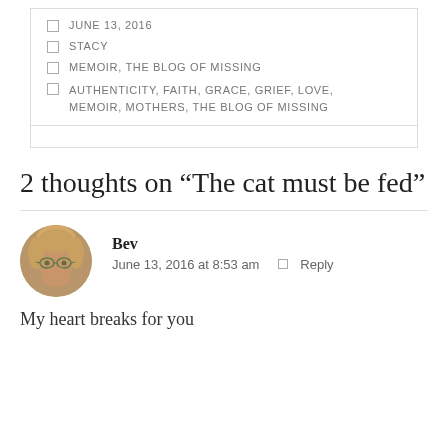JUNE 13, 2016
STACY
MEMOIR, THE BLOG OF MISSING
AUTHENTICITY, FAITH, GRACE, GRIEF, LOVE, MEMOIR, MOTHERS, THE BLOG OF MISSING
2 thoughts on “The cat must be fed”
Bev
June 13, 2016 at 8:53 am   Reply
My heart breaks for you